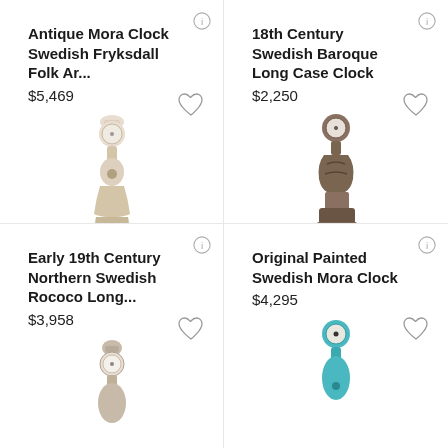Antique Mora Clock Swedish Fryksdall Folk Ar...
$5,469
[Figure (photo): Antique Mora clock, cream/white painted wood, tall case grandfather clock style]
18th Century Swedish Baroque Long Case Clock
$2,250
[Figure (photo): 18th century Swedish baroque long case clock, dark wood with ornate carvings]
Early 19th Century Northern Swedish Rococo Long...
$3,958
[Figure (photo): Early 19th century Northern Swedish Rococo long case clock, partially visible at bottom]
Original Painted Swedish Mora Clock
$4,295
[Figure (photo): Original painted Swedish Mora clock in turquoise/teal color, partially visible at bottom]